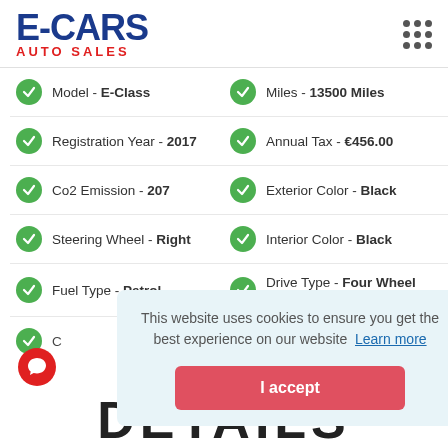[Figure (logo): E-CARS AUTO SALES logo in blue and red]
Model - E-Class | Miles - 13500 Miles
Registration Year - 2017 | Annual Tax - €456.00
Co2 Emission - 207 | Exterior Color - Black
Steering Wheel - Right | Interior Color - Black
Fuel Type - Petrol | Drive Type - Four Wheel Drive
This website uses cookies to ensure you get the best experience on our website Learn more
I accept
DETAILS